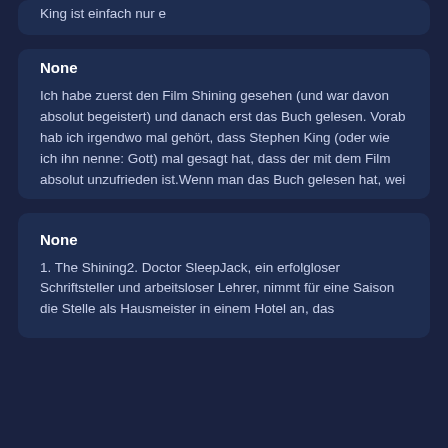King ist einfach nur e
None
Ich habe zuerst den Film Shining gesehen (und war davon absolut begeistert) und danach erst das Buch gelesen. Vorab hab ich irgendwo mal gehört, dass Stephen King (oder wie ich ihn nenne: Gott) mal gesagt hat, dass der mit dem Film absolut unzufrieden ist.Wenn man das Buch gelesen hat, wei
None
1. The Shining2. Doctor SleepJack, ein erfolgloser Schriftsteller und arbeitsloser Lehrer, nimmt für eine Saison die Stelle als Hausmeister in einem Hotel an, das